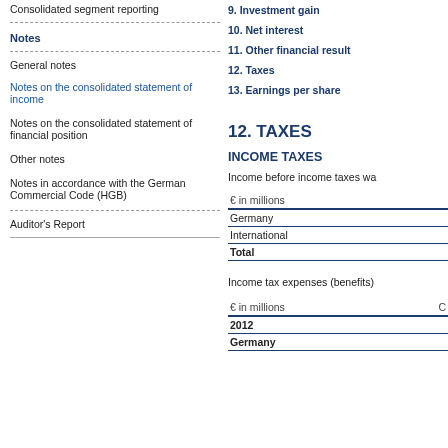Consolidated segment reporting
Notes
General notes
Notes on the consolidated statement of income
Notes on the consolidated statement of financial position
Other notes
Notes in accordance with the German Commercial Code (HGB)
Auditor's Report
9. Investment gain
10. Net interest
11. Other financial result
12. Taxes
13. Earnings per share
12. TAXES
INCOME TAXES
Income before income taxes wa
| € in millions |
| --- |
| Germany |
| International |
| Total |
Income tax expenses (benefits)
| € in millions | C |
| --- | --- |
| 2012 |  |
| Germany |  |